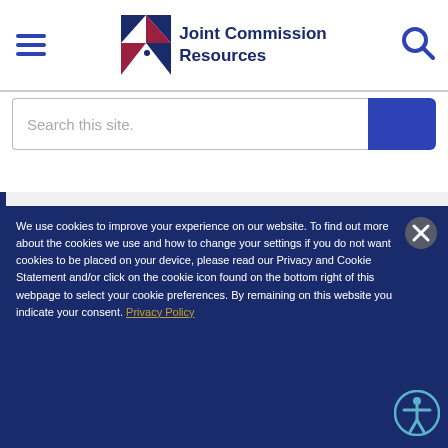Joint Commission Resources
Search this site.
Our Team
We use cookies to improve your experience on our website. To find out more about the cookies we use and how to change your settings if you do not want cookies to be placed on your device, please read our Privacy and Cookie Statement and/or click on the cookie icon found on the bottom right of this webpage to select your cookie preferences. By remaining on this website you indicate your consent. Privacy Policy